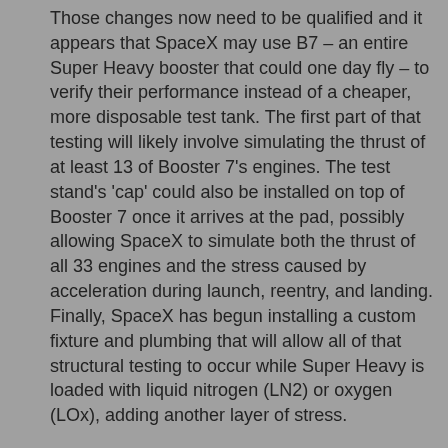Those changes now need to be qualified and it appears that SpaceX may use B7 – an entire Super Heavy booster that could one day fly – to verify their performance instead of a cheaper, more disposable test tank. The first part of that testing will likely involve simulating the thrust of at least 13 of Booster 7's engines. The test stand's 'cap' could also be installed on top of Booster 7 once it arrives at the pad, possibly allowing SpaceX to simulate both the thrust of all 33 engines and the stress caused by acceleration during launch, reentry, and landing. Finally, SpaceX has begun installing a custom fixture and plumbing that will allow all of that structural testing to occur while Super Heavy is loaded with liquid nitrogen (LN2) or oxygen (LOx), adding another layer of stress.
Starship Super Heavy will have ~16.7 Million pounds of thrust?  More than twice that of the Apollo Saturn V's 7.5 million lb.s?  I want to see that.
There are road closures scheduled for tomorrow with